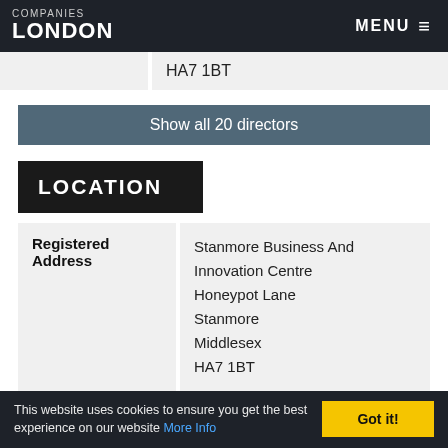COMPANIES LONDON | MENU
|  |  |
| --- | --- |
|  | HA7 1BT |
Show all 20 directors
LOCATION
| Registered Address | Address |
| --- | --- |
| Registered Address | Stanmore Business And Innovation Centre
Honeypot Lane
Stanmore
Middlesex
HA7 1BT |
This website uses cookies to ensure you get the best experience on our website More Info
Got it!